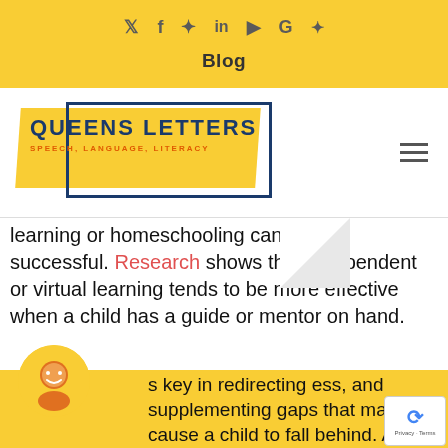Social icons: Twitter, Facebook, Pinterest, LinkedIn, YouTube, Google, Yelp
Blog
[Figure (logo): Queens Letters logo — yellow parallelogram background with navy blue border box, text 'Queens Letters' in bold navy uppercase, subtitle 'Speech, Language, Literacy' in orange]
learning or homeschooling cannot be successful. Research shows that independent or virtual learning tends to be more effective when a child has a guide or mentor on hand.
s key in redirecting ess, and supplementing gaps that may cause a child to fall behind. And one of the ways to ensure your child is getting the